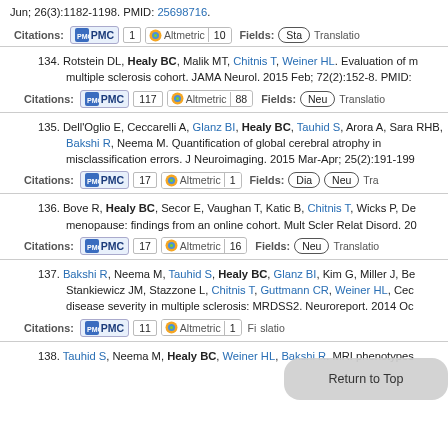Jun; 26(3):1182-1198. PMID: 25698716.
Citations: PMC 1 | Altmetric 10 | Fields: Sta | Translatio
134. Rotstein DL, Healy BC, Malik MT, Chitnis T, Weiner HL. Evaluation of multiple sclerosis cohort. JAMA Neurol. 2015 Feb; 72(2):152-8. PMID:
Citations: PMC 117 | Altmetric 88 | Fields: Neu | Translatio
135. Dell'Oglio E, Ceccarelli A, Glanz BI, Healy BC, Tauhid S, Arora A, Sara RHB, Bakshi R, Neema M. Quantification of global cerebral atrophy in misclassification errors. J Neuroimaging. 2015 Mar-Apr; 25(2):191-199
Citations: PMC 17 | Altmetric 1 | Fields: Dia | Neu | Tra
136. Bove R, Healy BC, Secor E, Vaughan T, Katic B, Chitnis T, Wicks P, De menopause: findings from an online cohort. Mult Scler Relat Disord. 20
Citations: PMC 17 | Altmetric 16 | Fields: Neu | Translatio
137. Bakshi R, Neema M, Tauhid S, Healy BC, Glanz BI, Kim G, Miller J, Be Stankiewicz JM, Stazzone L, Chitnis T, Guttmann CR, Weiner HL, Cec disease severity in multiple sclerosis: MRDSS2. Neuroreport. 2014 Oc
Citations: PMC 11 | Altmetric 1 | Fi | slatio
138. Tauhid S, Neema M, Healy BC, Weiner HL, Bakshi R. MRI phenotypes